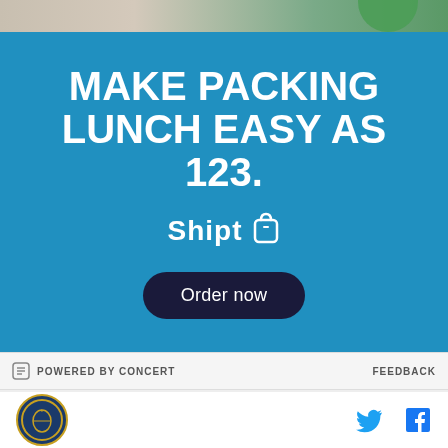[Figure (photo): Top strip showing partial view of person near kitchen/refrigerator]
[Figure (infographic): Shipt advertisement on blue background. Headline: MAKE PACKING LUNCH EASY AS 123. Shipt logo and Order now button.]
MAKE PACKING LUNCH EASY AS 123.
Shipt
Order now
POWERED BY CONCERT   FEEDBACK
[Figure (logo): Circular site logo with soccer/sports motif in blue and gold]
Twitter and Facebook social share icons